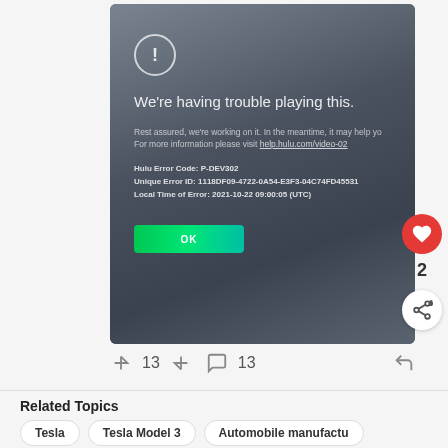[Figure (screenshot): Screenshot of a Hulu error screen on a Tesla display showing 'We're having trouble playing this.' with error code P-DEV302 and unique error ID, displayed on a dark grey background with an OK button.]
13  13
Related Topics
Tesla
Tesla Model 3
Automobile manufactu